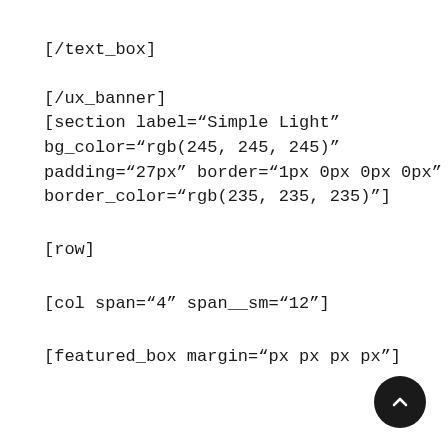[/text_box]
[/ux_banner]
[section label="Simple Light"
bg_color="rgb(245, 245, 245)"
padding="27px" border="1px 0px 0px 0px"
border_color="rgb(235, 235, 235)"]
[row]
[col span="4" span__sm="12"]
[featured_box margin="px px px px"]